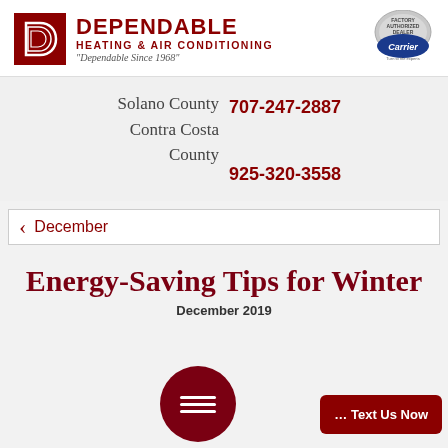[Figure (logo): Dependable Heating & Air Conditioning logo with red D icon, company name in dark red, Carrier Factory Authorized Dealer badge]
Solano County 707-247-2887
Contra Costa County 925-320-3558
December
Energy-Saving Tips for Winter
December 2019